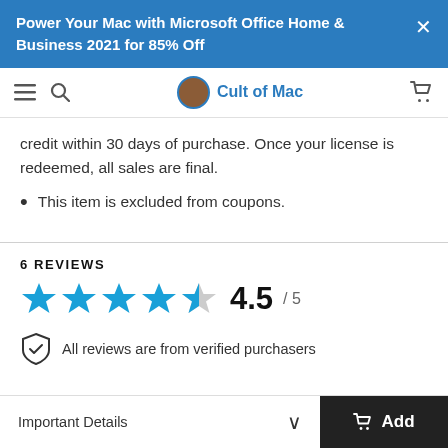Power Your Mac with Microsoft Office Home & Business 2021 for 85% Off
Cult of Mac
credit within 30 days of purchase. Once your license is redeemed, all sales are final.
This item is excluded from coupons.
6 REVIEWS
[Figure (other): 4.5 out of 5 stars rating display with 4 filled blue stars and 1 half-filled star, showing 4.5 / 5]
All reviews are from verified purchasers
Important Details  ∨  Add